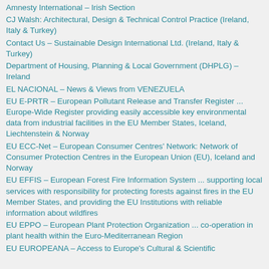Amnesty International – Irish Section
CJ Walsh: Architectural, Design & Technical Control Practice (Ireland, Italy & Turkey)
Contact Us – Sustainable Design International Ltd. (Ireland, Italy & Turkey)
Department of Housing, Planning & Local Government (DHPLG) – Ireland
EL NACIONAL – News & Views from VENEZUELA
EU E-PRTR – European Pollutant Release and Transfer Register ... Europe-Wide Register providing easily accessible key environmental data from industrial facilities in the EU Member States, Iceland, Liechtenstein & Norway
EU ECC-Net – European Consumer Centres' Network: Network of Consumer Protection Centres in the European Union (EU), Iceland and Norway
EU EFFIS – European Forest Fire Information System ... supporting local services with responsibility for protecting forests against fires in the EU Member States, and providing the EU Institutions with reliable information about wildfires
EU EPPO – European Plant Protection Organization ... co-operation in plant health within the Euro-Mediterranean Region
EU EUROPEANA – Access to Europe's Cultural & Scientific